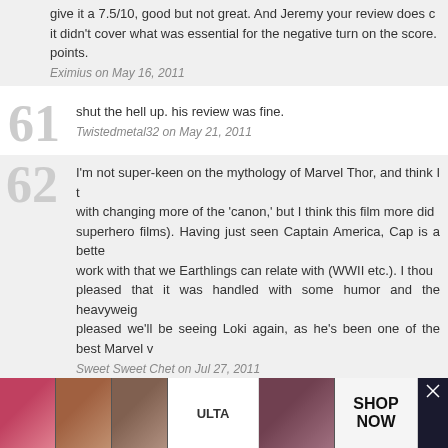give it a 7.5/10, good but not great. And Jeremy your review does cover it didn't cover what was essential for the negative turn on the score. points.
Eximius on May 16, 2011
shut the hell up. his review was fine.
Twistedmetal32 on May 21, 2011
I'm not super-keen on the mythology of Marvel Thor, and think I t with changing more of the 'canon,' but I think this film more did superhero films). Having just seen Captain America, Cap is a bette work with that we Earthlings can relate with (WWII etc.). I thou pleased that it was handled with some humor and the heavyweig pleased we'll be seeing Loki again, as he's been one of the best Marvel v
Sweet Sweet Chet on Jul 27, 2011
New comments are no longer allowed on this post.
[Figure (infographic): Advertisement banner showing makeup/beauty images with ULTA logo and SHOP NOW text]